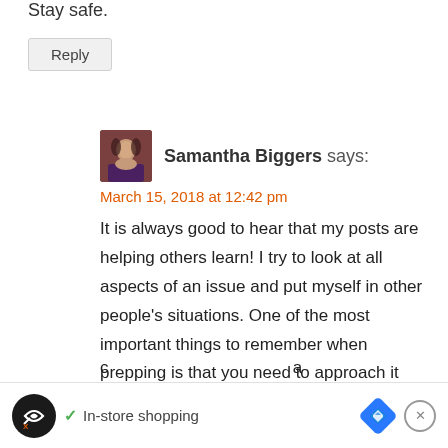Stay safe.
Reply
Samantha Biggers says:
March 15, 2018 at 12:42 pm
It is always good to hear that my posts are helping others learn! I try to look at all aspects of an issue and put myself in other people's situations. One of the most important things to remember when prepping is that you need to approach it from your own unique
In-store shopping